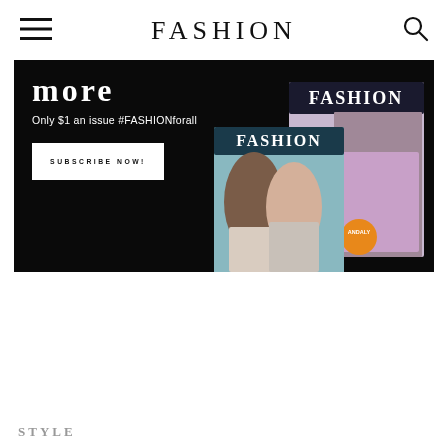FASHION
[Figure (illustration): Dark banner advertisement for FASHION magazine subscription showing two magazine covers, a subscribe button, and text reading 'more' and 'Only $1 an issue #FASHIONforall']
STYLE